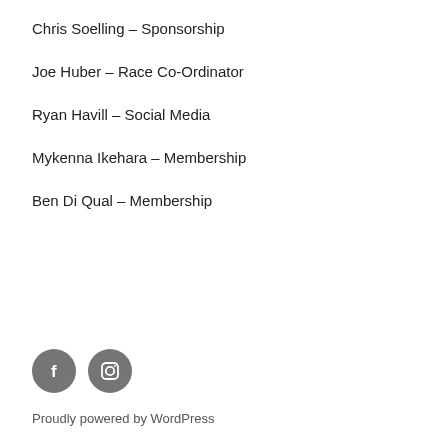Chris Soelling – Sponsorship
Joe Huber – Race Co-Ordinator
Ryan Havill – Social Media
Mykenna Ikehara – Membership
Ben Di Qual – Membership
[Figure (illustration): Two social media icons: Facebook (f) and Instagram (camera) as grey circles]
Proudly powered by WordPress